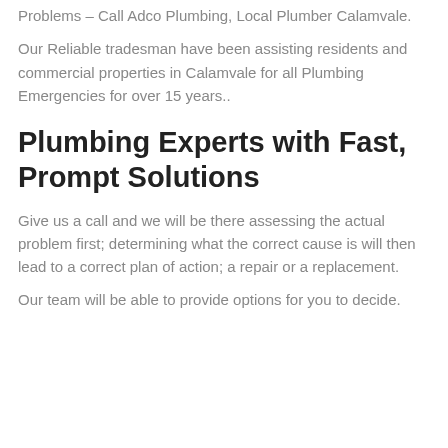Problems – Call Adco Plumbing, Local Plumber Calamvale.
Our Reliable tradesman have been assisting residents and commercial properties in Calamvale for all Plumbing Emergencies for over 15 years..
Plumbing Experts with Fast, Prompt Solutions
Give us a call and we will be there assessing the actual problem first; determining what the correct cause is will then lead to a correct plan of action; a repair or a replacement.
Our team will be able to provide options for you to decide.